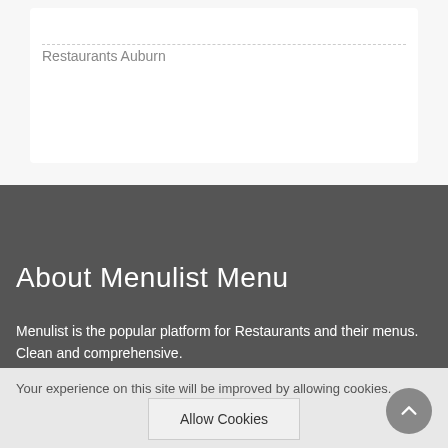Restaurants Auburn
About Menulist Menu
Menulist is the popular platform for Restaurants and their menus. Clean and comprehensive.
Your experience on this site will be improved by allowing cookies.
Allow Cookies